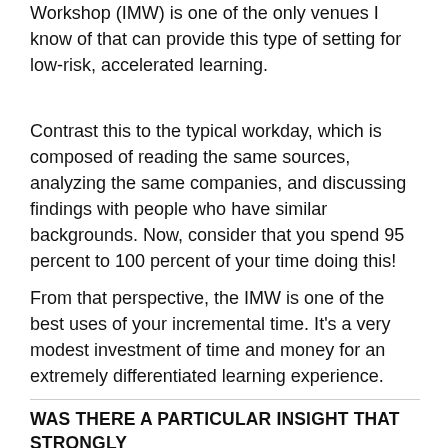Workshop (IMW) is one of the only venues I know of that can provide this type of setting for low-risk, accelerated learning.
Contrast this to the typical workday, which is composed of reading the same sources, analyzing the same companies, and discussing findings with people who have similar backgrounds. Now, consider that you spend 95 percent to 100 percent of your time doing this!
From that perspective, the IMW is one of the best uses of your incremental time. It's a very modest investment of time and money for an extremely differentiated learning experience.
WAS THERE A PARTICULAR INSIGHT THAT STRONGLY